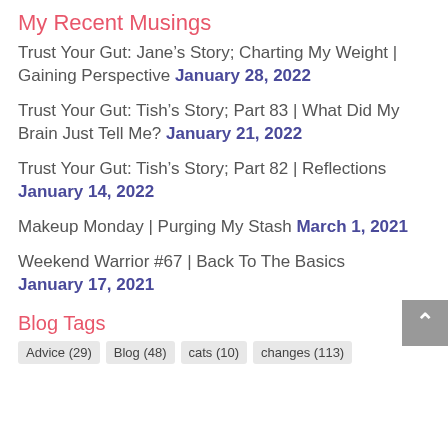My Recent Musings
Trust Your Gut: Jane’s Story; Charting My Weight | Gaining Perspective January 28, 2022
Trust Your Gut: Tish’s Story; Part 83 | What Did My Brain Just Tell Me? January 21, 2022
Trust Your Gut: Tish’s Story; Part 82 | Reflections January 14, 2022
Makeup Monday | Purging My Stash March 1, 2021
Weekend Warrior #67 | Back To The Basics January 17, 2021
Blog Tags
Advice (29)  Blog (48)  cats (10)  changes (113)